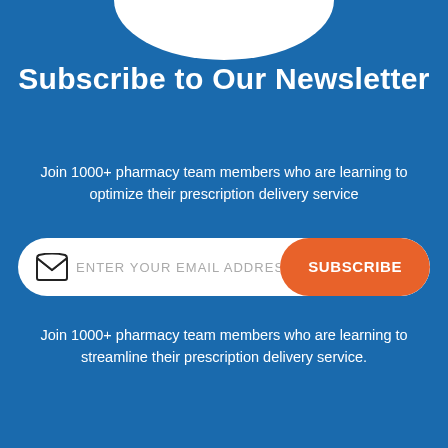[Figure (illustration): White semicircle/arc shape at the top center of the page, partial circle cutoff]
Subscribe to Our Newsletter
Join 1000+ pharmacy team members who are learning to optimize their prescription delivery service
[Figure (infographic): Email subscription input bar with envelope icon, placeholder text 'ENTER YOUR EMAIL ADDRESS...' and an orange 'SUBSCRIBE' button]
Join 1000+ pharmacy team members who are learning to streamline their prescription delivery service.